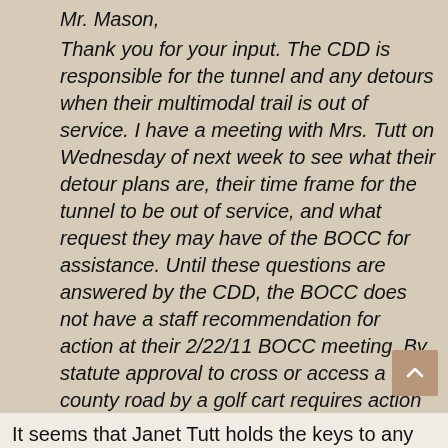Mr. Mason,
Thank you for your input. The CDD is responsible for the tunnel and any detours when their multimodal trail is out of service. I have a meeting with Mrs. Tutt on Wednesday of next week to see what their detour plans are, their time frame for the tunnel to be out of service, and what request they may have of the BOCC for assistance. Until these questions are answered by the CDD, the BOCC does not have a staff recommendation for action at their 2/22/11 BOCC meeting. By statute approval to cross or access a county road by a golf cart requires action by the BOCC.
It seems that Janet Tutt holds the keys to any